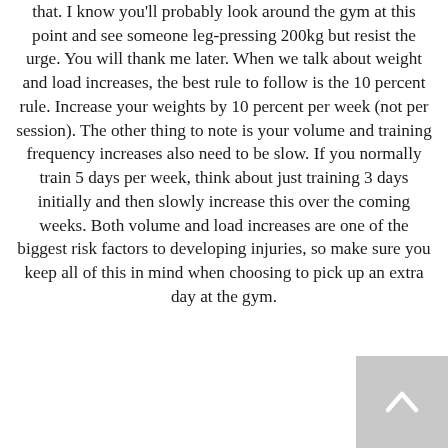that. I know you'll probably look around the gym at this point and see someone leg-pressing 200kg but resist the urge. You will thank me later. When we talk about weight and load increases, the best rule to follow is the 10 percent rule. Increase your weights by 10 percent per week (not per session). The other thing to note is your volume and training frequency increases also need to be slow. If you normally train 5 days per week, think about just training 3 days initially and then slowly increase this over the coming weeks. Both volume and load increases are one of the biggest risk factors to developing injuries, so make sure you keep all of this in mind when choosing to pick up an extra day at the gym.